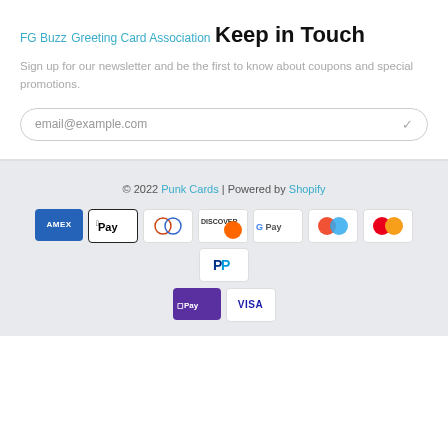FG Buzz
Greeting Card Association
Keep in Touch
Sign up for our newsletter and be the first to know about coupons and special promotions.
email@example.com
© 2022 Punk Cards | Powered by Shopify
[Figure (other): Payment method icons: American Express, Apple Pay, Diners Club, Discover, Google Pay, Maestro, Mastercard, PayPal, Shop Pay, Visa]